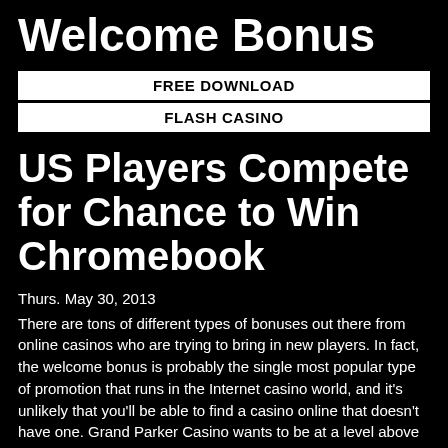Welcome Bonus
| FREE DOWNLOAD |
| FLASH CASINO |
US Players Compete for Chance to Win Chromebook
Thurs. May 30, 2013
There are tons of different types of bonuses out there from online casinos who are trying to bring in new players. In fact, the welcome bonus is probably the single most popular type of promotion that runs in the Internet casino world, and it's unlikely that you'll be able to find a casino online that doesn't have one. Grand Parker Casino wants to be at a level above the rest, and they're really showing it with a promotion for new players who sign up today. You could win a brand new Chromebook with their Chromebook Raffle promotion.
Here's how this promotion works. Any new player who makes his or